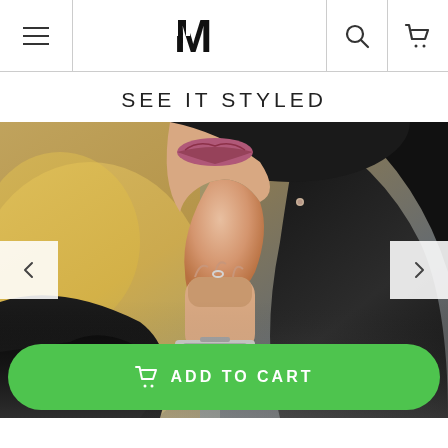Navigation header with menu, M logo, search and cart icons
SEE IT STYLED
[Figure (photo): Close-up photo of a woman with dark hair, wearing a black outfit, resting her chin on her hand. She has a silver watch on her wrist, a small ring, and a stud earring. Her lips are mauve/pink. Background is a warm blurred interior.]
ADD TO CART